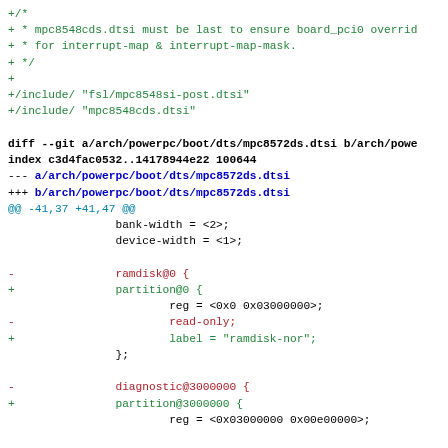diff/patch code showing changes to mpc8572ds.dtsi file with added partition blocks replacing ramdisk and diagnostic entries